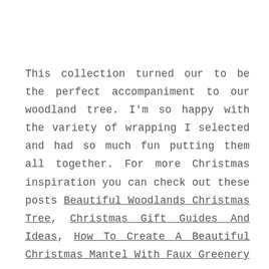This collection turned our to be the perfect accompaniment to our woodland tree. I'm so happy with the variety of wrapping I selected and had so much fun putting them all together. For more Christmas inspiration you can check out these posts Beautiful Woodlands Christmas Tree, Christmas Gift Guides And Ideas, How To Create A Beautiful Christmas Mantel With Faux Greenery